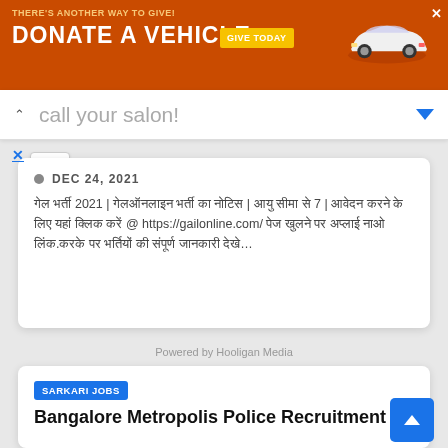[Figure (other): Orange advertisement banner for vehicle donation: 'THERE'S ANOTHER WAY TO GIVE! DONATE A VEHICLE GIVE TODAY' with car image and close X button]
call your salon!
X
DEC 24, 2021
गेल भर्ती 2021 | गेलऑनलाइन भर्ती का नोटिस | आयु सीमा से 7 | आवेदन करने के लिए यहां क्लिक करें @ https://gailonline.com/ पेज खुलने पर अप्लाई नाओ लिंक.करके पर भर्तियों की संपूर्ण जानकारी देखे…
Powered by Hooligan Media
SARKARI JOBS
Bangalore Metropolis Police Recruitment